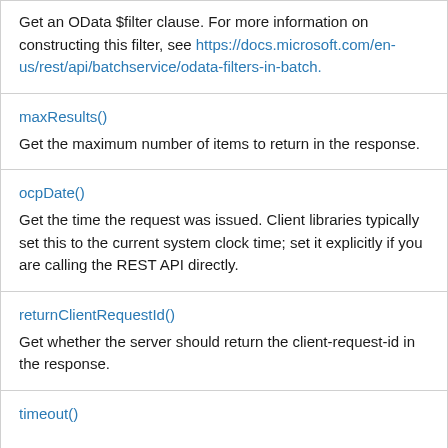Get an OData $filter clause. For more information on constructing this filter, see https://docs.microsoft.com/en-us/rest/api/batchservice/odata-filters-in-batch.
maxResults()
Get the maximum number of items to return in the response.
ocpDate()
Get the time the request was issued. Client libraries typically set this to the current system clock time; set it explicitly if you are calling the REST API directly.
returnClientRequestId()
Get whether the server should return the client-request-id in the response.
timeout()